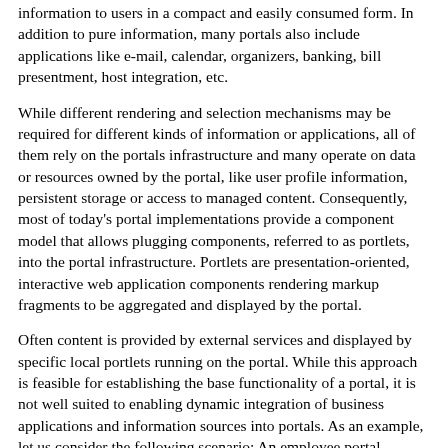information to users in a compact and easily consumed form. In addition to pure information, many portals also include applications like e-mail, calendar, organizers, banking, bill presentment, host integration, etc.
While different rendering and selection mechanisms may be required for different kinds of information or applications, all of them rely on the portals infrastructure and many operate on data or resources owned by the portal, like user profile information, persistent storage or access to managed content. Consequently, most of today's portal implementations provide a component model that allows plugging components, referred to as portlets, into the portal infrastructure. Portlets are presentation-oriented, interactive web application components rendering markup fragments to be aggregated and displayed by the portal.
Often content is provided by external services and displayed by specific local portlets running on the portal. While this approach is feasible for establishing the base functionality of a portal, it is not well suited to enabling dynamic integration of business applications and information sources into portals. As an example, let us consider the following scenario: An employee portal manager wants to include a human resources service calculating estimated retirement benefits for employees and an external weather service providing weather forecasts. One solution for this scenario is depicted in Figure 1 where a human resources portlet